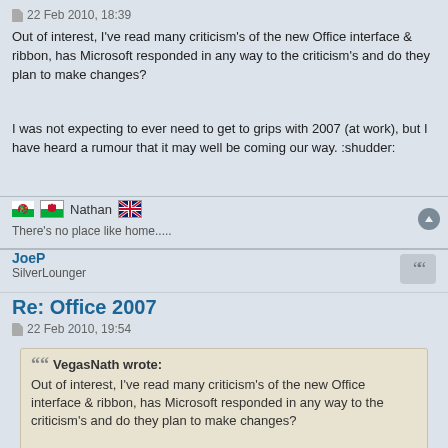22 Feb 2010, 18:39
Out of interest, I've read many criticism's of the new Office interface & ribbon, has Microsoft responded in any way to the criticism's and do they plan to make changes?
I was not expecting to ever need to get to grips with 2007 (at work), but I have heard a rumour that it may well be coming our way. :shudder:
Nathan
There's no place like home.....
JoeP
SilverLounger
Re: Office 2007
22 Feb 2010, 19:54
VegasNath wrote: Out of interest, I've read many criticism's of the new Office interface & ribbon, has Microsoft responded in any way to the criticism's and do they plan to make changes? I was not expecting to ever need to get to grips with 2007 (at work), but